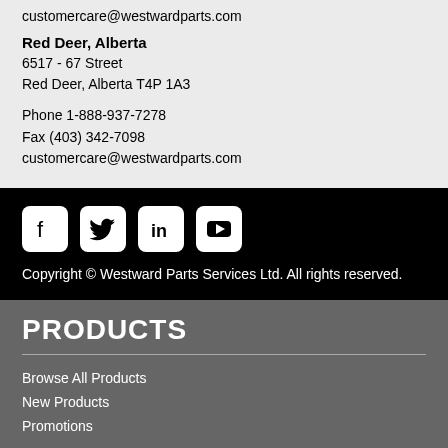customercare@westwardparts.com
Red Deer, Alberta
6517 - 67 Street
Red Deer, Alberta T4P 1A3

Phone 1-888-937-7278
Fax (403) 342-7098
customercare@westwardparts.com
[Figure (other): Social media icons: Facebook, Twitter, LinkedIn, YouTube]
Copyright © Westward Parts Services Ltd. All rights reserved.
PRODUCTS
Browse All Products
New Products
Promotions